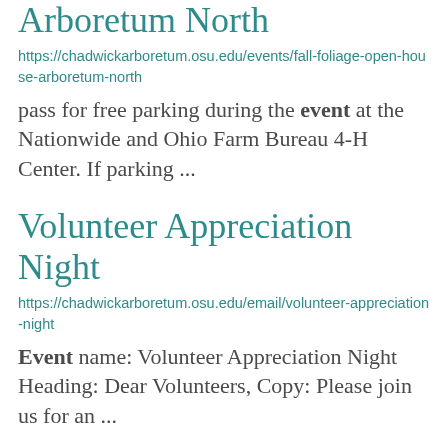Arboretum North
https://chadwickarboretum.osu.edu/events/fall-foliage-open-house-arboretum-north
pass for free parking during the event at the Nationwide and Ohio Farm Bureau 4-H Center. If parking ...
Volunteer Appreciation Night
https://chadwickarboretum.osu.edu/email/volunteer-appreciation-night
Event name: Volunteer Appreciation Night Heading: Dear Volunteers, Copy: Please join us for an ...
Winter Solstice Labyrinth Walk and Conifer Tour